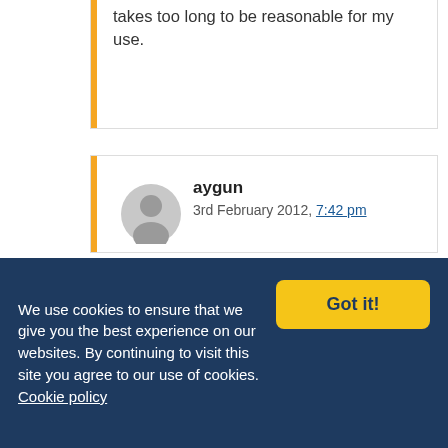takes too long to be reasonable for my use.
aygun
3rd February 2012, 7:42 pm

Guys , dont forget the UPnP servers with live trascoding . They might be an option . Don't you think ?
We use cookies to ensure that we give you the best experience on our websites. By continuing to visit this site you agree to our use of cookies. Cookie policy